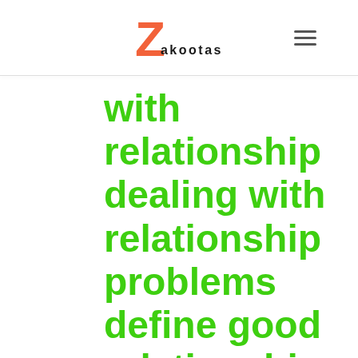Zakootas
with relationship dealing with relationship problems define good relationship guide to a healthy